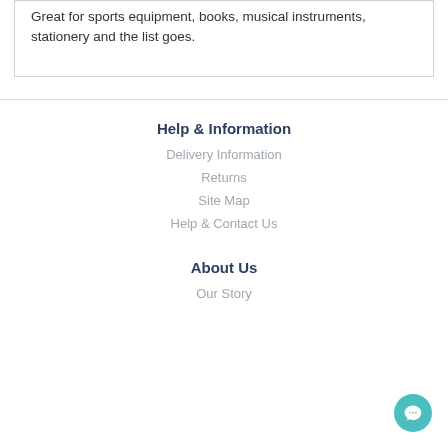Great for sports equipment, books, musical instruments, stationery and the list goes.
Help & Information
Delivery Information
Returns
Site Map
Help & Contact Us
About Us
Our Story